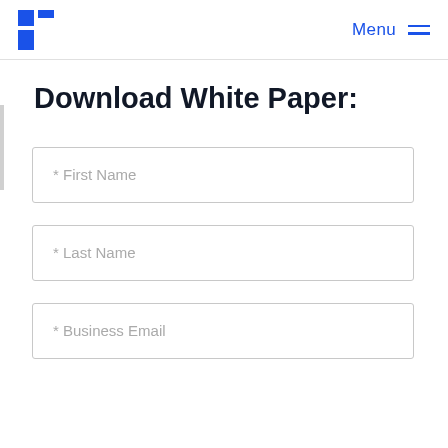Menu
Download White Paper:
* First Name
* Last Name
* Business Email